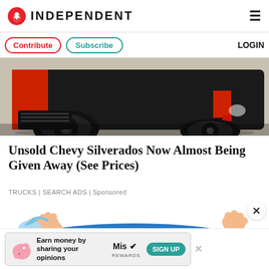INDEPENDENT
[Figure (screenshot): Navigation bar with Contribute and Subscribe buttons and LOGIN text]
[Figure (photo): Close-up of a black and red Chevy Silverado truck front/side, on a light background]
Unsold Chevy Silverados Now Almost Being Given Away (See Prices)
TRUCKS | SEARCH ADS | Sponsored
[Figure (illustration): Cartoon illustration of a person lying down, overlay advertisement]
[Figure (infographic): Bottom advertisement banner: Earn money by sharing your opinions, Miso Rewards, SIGN UP button]